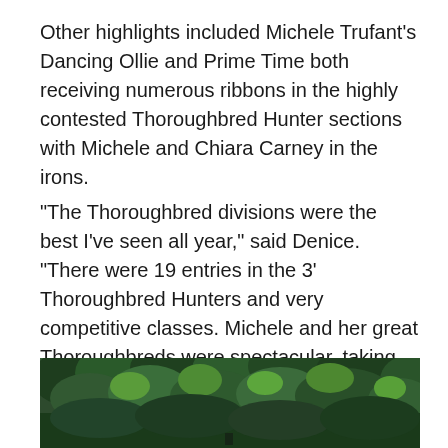Other highlights included Michele Trufant's Dancing Ollie and Prime Time both receiving numerous ribbons in the highly contested Thoroughbred Hunter sections with Michele and Chiara Carney in the irons.
“The Thoroughbred divisions were the best I’ve seen all year,” said Denice. “There were 19 entries in the 3’ Thoroughbred Hunters and very competitive classes. Michele and her great Thoroughbreds were spectacular, taking top ribbons in the model, over fences and under saddle.”
[Figure (photo): Outdoor photograph showing dense green tree canopy and foliage, likely taken at a horse show venue or park setting.]